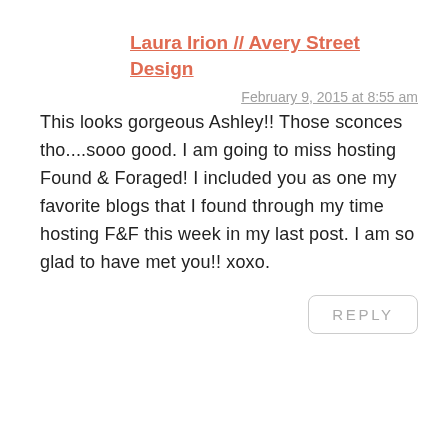Laura Irion // Avery Street Design
February 9, 2015 at 8:55 am
This looks gorgeous Ashley!! Those sconces tho....sooo good. I am going to miss hosting Found & Foraged! I included you as one my favorite blogs that I found through my time hosting F&F this week in my last post. I am so glad to have met you!! xoxo.
REPLY